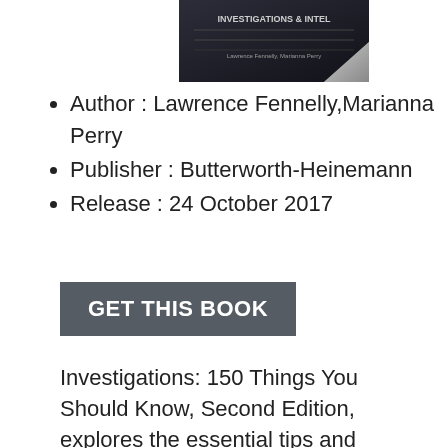[Figure (photo): Book cover image showing a dark-themed book titled with investigation-related content, with a curled page corner effect]
Author : Lawrence Fennelly,Marianna Perry
Publisher : Butterworth-Heinemann
Release : 24 October 2017
GET THIS BOOK
Investigations: 150 Things You Should Know, Second Edition, explores the essential tips and techniques for security investigations, providing a useful reference for those at any stage of their security career. This practical guide covers the legal guidelines that all investigators must follow. Through anecdotes, case studies and documented procedures, the authors present the most complete collection of investigative